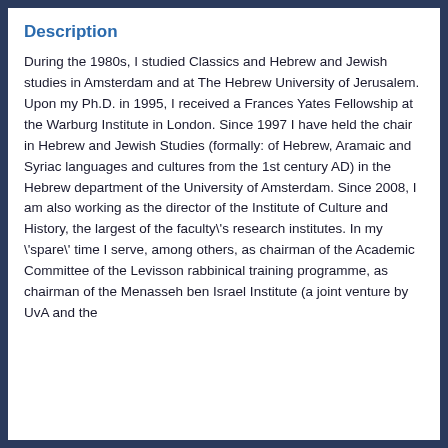Description
During the 1980s, I studied Classics and Hebrew and Jewish studies in Amsterdam and at The Hebrew University of Jerusalem. Upon my Ph.D. in 1995, I received a Frances Yates Fellowship at the Warburg Institute in London. Since 1997 I have held the chair in Hebrew and Jewish Studies (formally: of Hebrew, Aramaic and Syriac languages and cultures from the 1st century AD) in the Hebrew department of the University of Amsterdam. Since 2008, I am also working as the director of the Institute of Culture and History, the largest of the faculty's research institutes. In my 'spare' time I serve, among others, as chairman of the Academic Committee of the Levisson rabbinical training programme, as chairman of the Menasseh ben Israel Institute (a joint venture by UvA and the